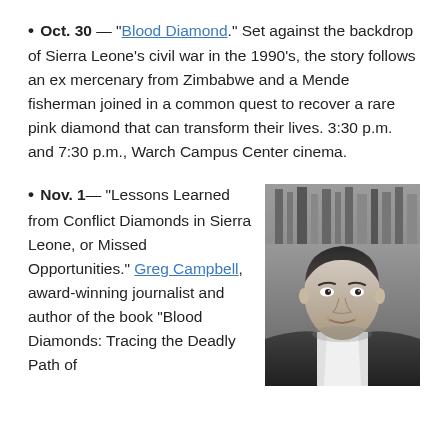• Oct. 30 — "Blood Diamond." Set against the backdrop of Sierra Leone's civil war in the 1990's, the story follows an ex mercenary from Zimbabwe and a Mende fisherman joined in a common quest to recover a rare pink diamond that can transform their lives. 3:30 p.m. and 7:30 p.m., Warch Campus Center cinema.
• Nov. 1— "Lessons Learned from Conflict Diamonds in Sierra Leone, or Missed Opportunities." Greg Campbell, award-winning journalist and author of the book "Blood Diamonds: Tracing the Deadly Path of
[Figure (photo): Black and white portrait photo of a man (Greg Campbell), short dark hair, wearing a suit jacket, bookshelf visible in background.]